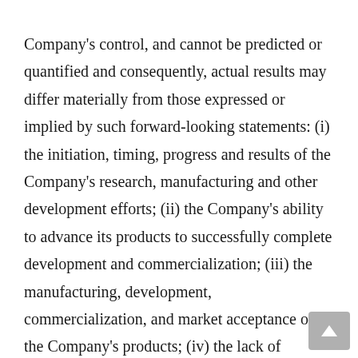Company's control, and cannot be predicted or quantified and consequently, actual results may differ materially from those expressed or implied by such forward-looking statements: (i) the initiation, timing, progress and results of the Company's research, manufacturing and other development efforts; (ii) the Company's ability to advance its products to successfully complete development and commercialization; (iii) the manufacturing, development, commercialization, and market acceptance of the Company's products; (iv) the lack of sufficient funding to finance the product development and business operations; (v) competitive companies and technologies within the Company's industry and introduction of competing products; (vi) the Company's ability to establish and maintain corporate collaborations; (vii) loss of key management personnel;